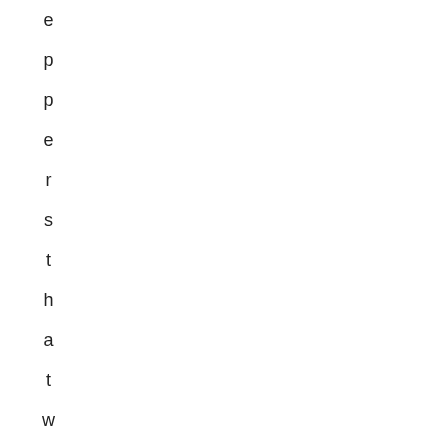eppers that were received were eH